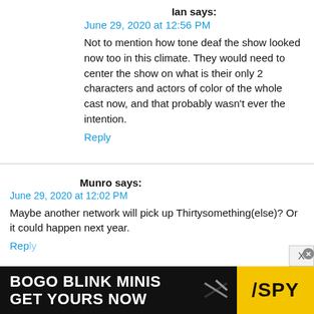Ian says:
June 29, 2020 at 12:56 PM
Not to mention how tone deaf the show looked now too in this climate. They would need to center the show on what is their only 2 characters and actors of color of the whole cast now, and that probably wasn't ever the intention.
Reply
Munro says:
June 29, 2020 at 12:02 PM
Maybe another network will pick up Thirtysomething(else)? Or it could happen next year.
Reply
[Figure (screenshot): Advertisement banner: BOGO BLINK MINIS GET YOURS NOW with SPY logo on yellow background]